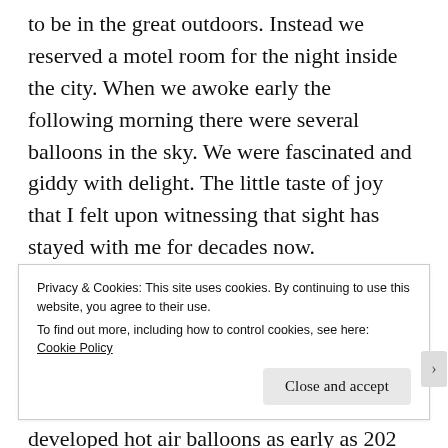to be in the great outdoors. Instead we reserved a motel room for the night inside the city. When we awoke early the following morning there were several balloons in the sky. We were fascinated and giddy with delight. The little taste of joy that I felt upon witnessing that sight has stayed with me for decades now.

I can't explain my fascination with hot air balloons. I find myself wondering who would ever have thought of inventing such a conveyance. China is said to have developed hot air balloons as early as 202 CE. Their creations were unmanned lanterns that were designed
Privacy & Cookies: This site uses cookies. By continuing to use this website, you agree to their use.
To find out more, including how to control cookies, see here:
Cookie Policy

Close and accept